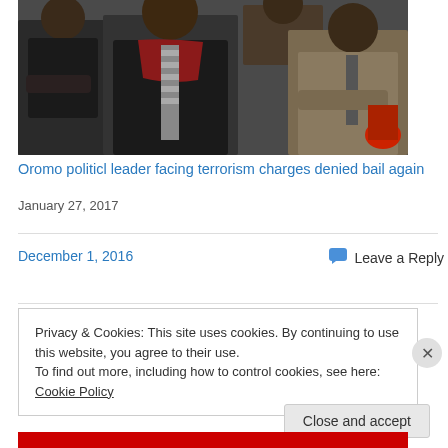[Figure (photo): Group of men seated at a table, one wearing a dark suit with a red/maroon scarf and striped tie in the center]
Oromo politicl leader facing terrorism charges denied bail again
January 27, 2017
December 1, 2016
Leave a Reply
Privacy & Cookies: This site uses cookies. By continuing to use this website, you agree to their use.
To find out more, including how to control cookies, see here: Cookie Policy
Close and accept